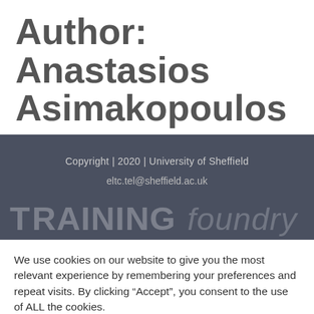Author: Anastasios Asimakopoulos
Copyright | 2020 | University of Sheffield
eltc.tel@sheffield.ac.uk
[Figure (logo): Training Foundry logo text in large white letters on dark grey background]
We use cookies on our website to give you the most relevant experience by remembering your preferences and repeat visits. By clicking “Accept”, you consent to the use of ALL the cookies.
Cookie settings
ACCEPT